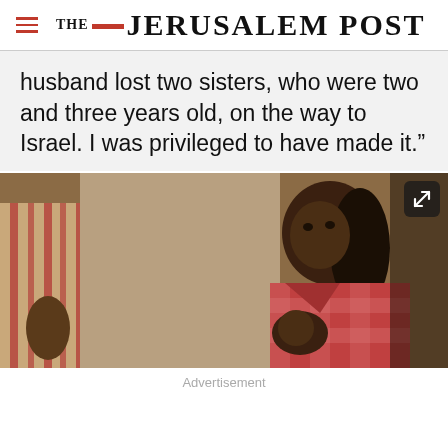THE JERUSALEM POST
husband lost two sisters, who were two and three years old, on the way to Israel. I was privileged to have made it.”
[Figure (photo): A woman in a red and white checkered shirt holding a baby or small child, with another person in a striped shirt visible on the left side of the frame.]
Advertisement